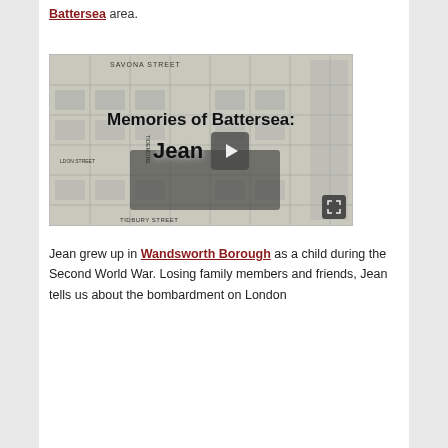Battersea area.
[Figure (screenshot): Video thumbnail showing a black and white street map of the Battersea area with the overlay text 'Memories of Battersea: Jean' and a play button in the center, plus a fullscreen icon in the bottom right corner. Map shows streets including Savona Street, Tidemore, Tidbury Street, and Ldon Street.]
Jean grew up in Wandsworth Borough as a child during the Second World War. Losing family members and friends, Jean tells us about the bombardment on London